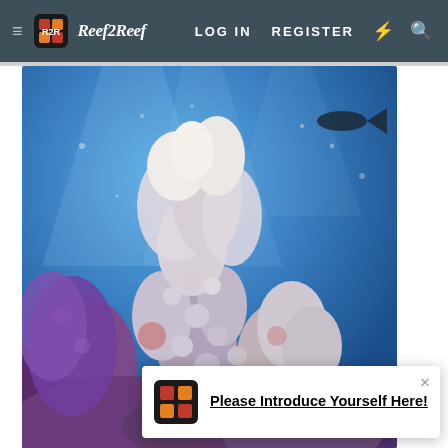Reef2Reef | LOG IN   REGISTER
[Figure (photo): Underwater photo of coral reef with blue water background, showing purple and white coral formations and a fish silhouette near the top right]
Please Introduce Yourself Here!